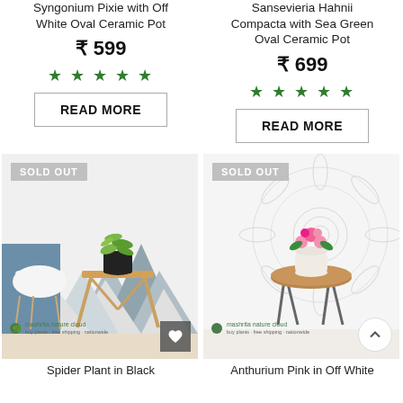Syngonium Pixie with Off White Oval Ceramic Pot
₹ 599
★★★★★
READ MORE
Sansevieria Hahnii Compacta with Sea Green Oval Ceramic Pot
₹ 699
★★★★★
READ MORE
[Figure (photo): Spider plant in black pot on wooden folding table, with mountain-patterned wallpaper and white chair in background. SOLD OUT badge visible.]
Spider Plant in Black
[Figure (photo): Anthurium Pink in white pot on wooden slab table with hairpin legs, sunflower pattern background. SOLD OUT badge visible.]
Anthurium Pink in Off White